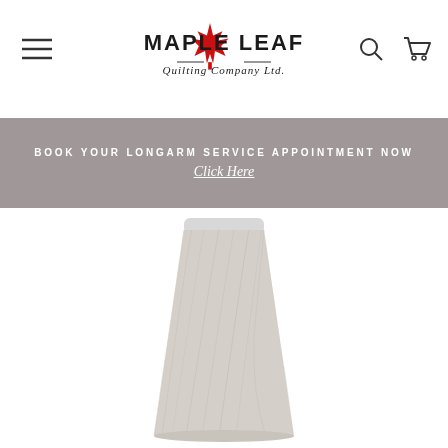[Figure (logo): Maple Leaf Quilting Company Ltd. logo with red maple leaf and stylized text]
BOOK YOUR LONGARM SERVICE APPOINTMENT NOW
Click Here
[Figure (photo): Large spool/cone of light beige/off-white thread for quilting]